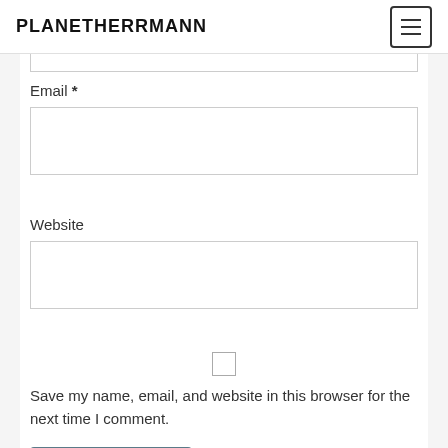PLANETHERRMANN
Email *
Website
Save my name, email, and website in this browser for the next time I comment.
Post Comment